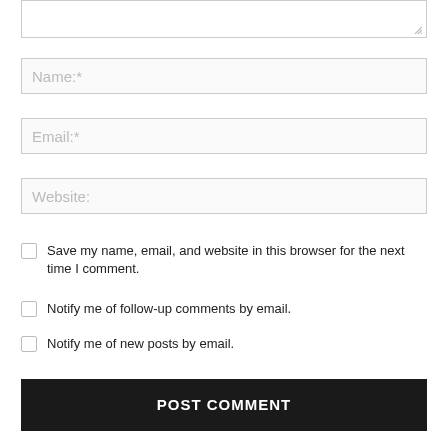[Figure (screenshot): Partial textarea input box with resize handle at bottom right]
Name:*
Email:*
Website:
Save my name, email, and website in this browser for the next time I comment.
Notify me of follow-up comments by email.
Notify me of new posts by email.
POST COMMENT